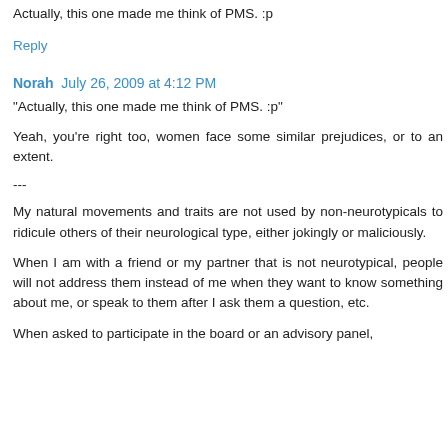Actually, this one made me think of PMS. :p
Reply
Norah  July 26, 2009 at 4:12 PM
"Actually, this one made me think of PMS. :p"
Yeah, you're right too, women face some similar prejudices, or to an extent.
---
My natural movements and traits are not used by non-neurotypicals to ridicule others of their neurological type, either jokingly or maliciously.
When I am with a friend or my partner that is not neurotypical, people will not address them instead of me when they want to know something about me, or speak to them after I ask them a question, etc.
When asked to participate in the board or an advisory panel,